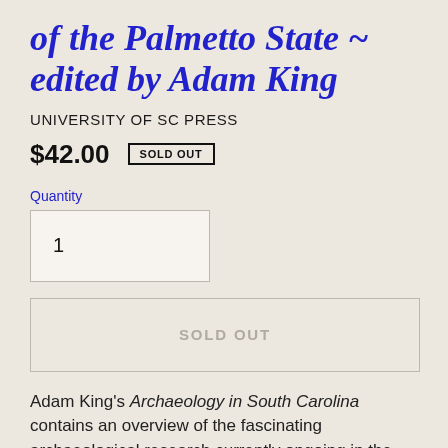of the Palmetto State ~ edited by Adam King
UNIVERSITY OF SC PRESS
$42.00  SOLD OUT
Quantity
1
SOLD OUT
Adam King's Archaeology in South Carolina contains an overview of the fascinating archaeological research currently ongoing in the